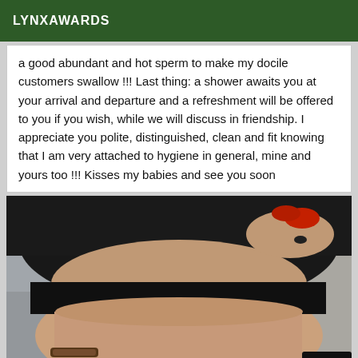LYNXAWARDS
a good abundant and hot sperm to make my docile customers swallow !!! Last thing: a shower awaits you at your arrival and departure and a refreshment will be offered to you if you wish, while we will discuss in friendship. I appreciate you polite, distinguished, clean and fit knowing that I am very attached to hygiene in general, mine and yours too !!! Kisses my babies and see you soon
[Figure (photo): Close-up photo of a person wearing a black crop top, showing midriff, with red-painted fingernails visible near the neckline area. Background appears to be an indoor or outdoor setting with blurred elements.]